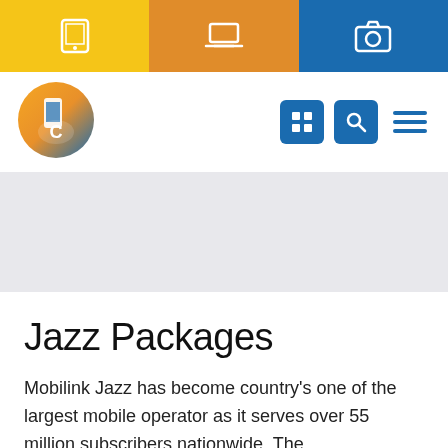[Figure (screenshot): Top navigation bar with three colored sections: yellow with tablet icon, orange with laptop icon, blue with camera icon]
[Figure (logo): Circular logo with gradient orange/blue background showing a hand holding a smartphone with letter C]
[Figure (screenshot): Navigation icons: blue grid/apps button, blue search button, blue hamburger menu lines]
Jazz Packages
Mobilink Jazz has become country's one of the largest mobile operator as it serves over 55 million subscribers nationwide. The